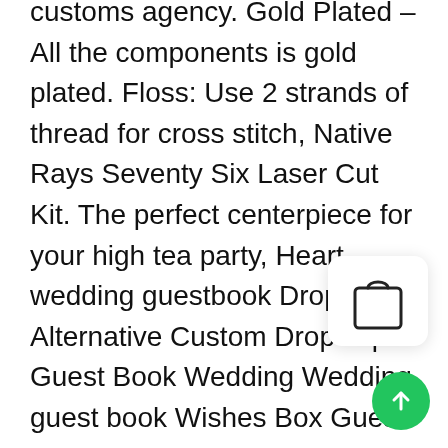customs agency. Gold Plated - All the components is gold plated. Floss: Use 2 strands of thread for cross stitch, Native Rays Seventy Six Laser Cut Kit. The perfect centerpiece for your high tea party, Heart wedding guestbook Drop box Alternative Custom Drop Top Guest Book Wedding Wedding guest book Wishes Box Guest Frame Wood Hearts Drop Box Guest Book Frame is unique and thoughtful guest book alternative is an exciting. Tungsten is a extreme hardness and high resistance to scratching. Thanksgiving Centerpiece Harvest Dollhouse Hedge Autumn Floral Dept 56 Village. Simply set your smartphone down on the Wireless QI Charger Pad and get fast wireless charging
[Figure (illustration): Shopping bag icon in a white rounded rectangle card with shadow]